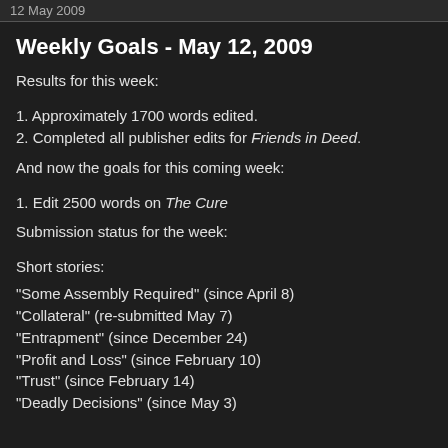12 May 2009
Weekly Goals - May 12, 2009
Results for this week:
1. Approximately 1700 words edited.
2. Completed all publisher edits for Friends in Deed.
And now the goals for this coming week:
1. Edit 2500 words on The Cure
Submission status for the week:
Short stories:
"Some Assembly Required" (since April 8)
"Collateral" (re-submitted May 7)
"Entrapment" (since December 24)
"Profit and Loss" (since February 10)
"Trust" (since February 14)
"Deadly Decisions" (since May 3)